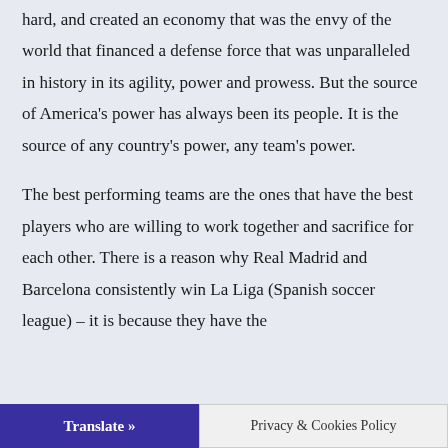children, these children built companies, worked hard, and created an economy that was the envy of the world that financed a defense force that was unparalleled in history in its agility, power and prowess. But the source of America's power has always been its people. It is the source of any country's power, any team's power.
The best performing teams are the ones that have the best players who are willing to work together and sacrifice for each other. There is a reason why Real Madrid and Barcelona consistently win La Liga (Spanish soccer league) – it is because they have the
Translate » | Privacy & Cookies Policy